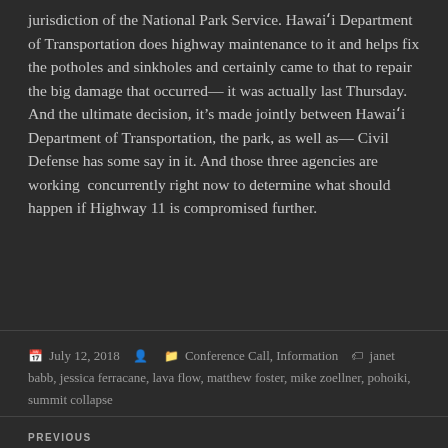jurisdiction of the National Park Service. Hawai'i Department of Transportation does highway maintenance to it and helps fix the potholes and sinkholes and certainly came to that to repair the big damage that occurred— it was actually last Thursday. And the ultimate decision, it's made jointly between Hawai'i Department of Transportation, the park, as well as— Civil Defense has some say in it. And those three agencies are working  concurrently right now to determine what should happen if Highway 11 is compromised further.
July 12, 2018  Conference Call, Information  janet babb, jessica ferracane, lava flow, matthew foster, mike zoellner, pohoiki, summit collapse
PREVIOUS